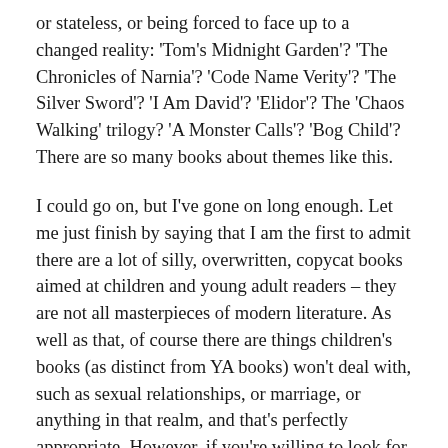or stateless, or being forced to face up to a changed reality: 'Tom's Midnight Garden'? 'The Chronicles of Narnia'? 'Code Name Verity'? 'The Silver Sword'? 'I Am David'? 'Elidor'? The 'Chaos Walking' trilogy? 'A Monster Calls'? 'Bog Child'? There are so many books about themes like this.
I could go on, but I've gone on long enough. Let me just finish by saying that I am the first to admit there are a lot of silly, overwritten, copycat books aimed at children and young adult readers – they are not all masterpieces of modern literature. As well as that, of course there are things children's books (as distinct from YA books) won't deal with, such as sexual relationships, or marriage, or anything in that realm, and that's perfectly appropriate. However, if you're willing to look for them, you'll find children's books – good ones – are just as profound, life-changing, meaningful, brave and beautiful as the best of literature written for adults; they pitch their ideas just as widely, and they deal with as full a range of human emotions, fears and needs.